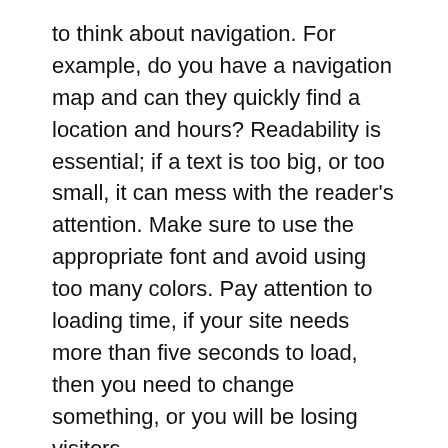to think about navigation. For example, do you have a navigation map and can they quickly find a location and hours? Readability is essential; if a text is too big, or too small, it can mess with the reader's attention. Make sure to use the appropriate font and avoid using too many colors. Pay attention to loading time, if your site needs more than five seconds to load, then you need to change something, or you will be losing visitors.
Go for responsiveness
The feedback you receive from your customers can be valuable information and